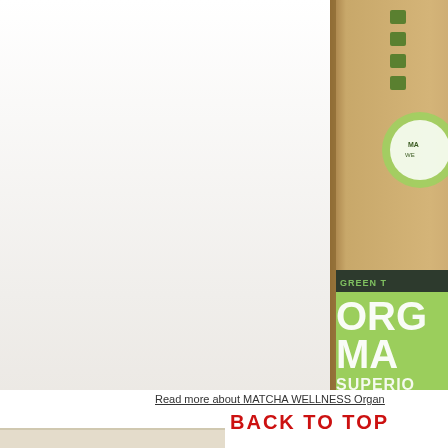[Figure (photo): Partial view of a gold/kraft paper pouch of Matcha Wellness Organic Matcha powder with a green label showing 'GREEN T...', 'ORG...', 'MA...', 'SUPERIO...' text. The pouch stands on a light wood surface against a white/light gray wall background. The left side of the image is mostly empty wall and table, while the product occupies the right portion.]
Read more about MATCHA WELLNESS Organ
BACK TO TOP